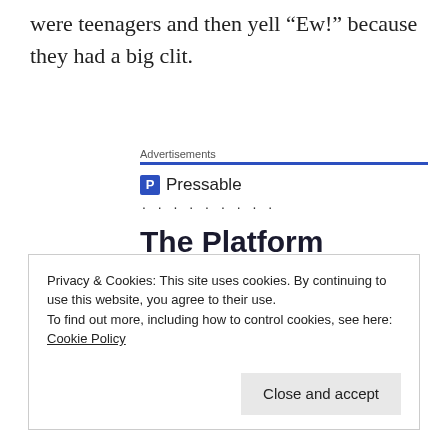were teenagers and then yell “Ew!” because they had a big clit.
[Figure (other): Pressable advertisement banner showing logo, dots, and headline 'The Platform Where WordPress Works Best']
Privacy & Cookies: This site uses cookies. By continuing to use this website, you agree to their use.
To find out more, including how to control cookies, see here: Cookie Policy
Close and accept